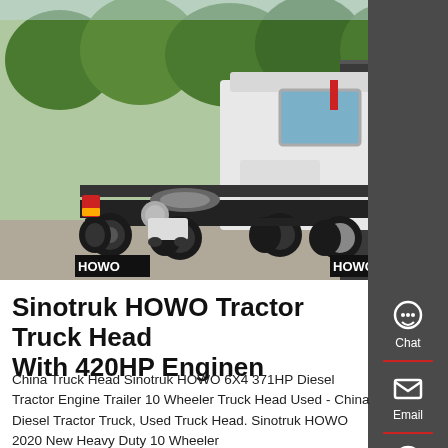[Figure (photo): Rear view of a white Sinotruk HOWO tractor truck head parked in a lot, with trees in the background. Two HOWO mudguards visible, 6x4 configuration with dual rear wheels.]
Sinotruk HOWO Tractor Truck Head With 420HP Enginen
China Truck Head Sinotruk HOWO 6X4 371HP Diesel Tractor Engine Trailer 10 Wheeler Truck Head Used - China Diesel Tractor Truck, Used Truck Head. Sinotruk HOWO 2020 New Heavy Duty 10 Wheeler